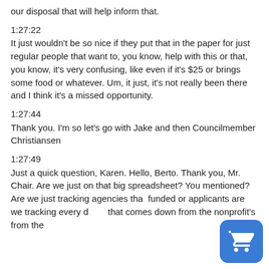our disposal that will help inform that.
1:27:22
It just wouldn't be so nice if they put that in the paper for just regular people that want to, you know, help with this or that, you know, it's very confusing, like even if it's $25 or brings some food or whatever. Um, it just, it's not really been there and I think it's a missed opportunity.
1:27:44
Thank you. I'm so let's go with Jake and then Councilmember Christiansen
1:27:49
Just a quick question, Karen. Hello, Berto. Thank you, Mr. Chair. Are we just on that big spreadsheet? You mentioned? Are we just tracking agencies that funded or applicants are we tracking every dollar that comes down from the nonprofit's from the feds